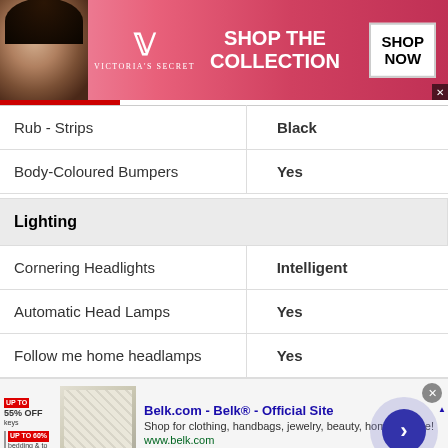[Figure (other): Victoria's Secret advertisement banner: pink gradient background with model, VS logo, 'SHOP THE COLLECTION' text, and 'SHOP NOW' button]
| Feature | Value |
| --- | --- |
| Rub - Strips | Black |
| Body-Coloured Bumpers | Yes |
| Feature | Value |
| --- | --- |
| Lighting |  |
| Cornering Headlights | Intelligent |
| Automatic Head Lamps | Yes |
| Follow me home headlamps | Yes |
[Figure (other): Belk.com advertisement banner: 'Belk.com - Belk® - Official Site', shop for clothing, handbags, jewelry, beauty, home & more, www.belk.com]